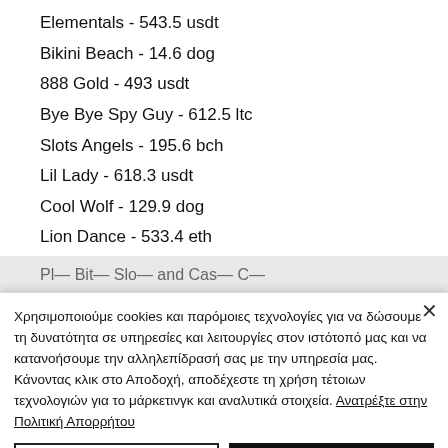Elementals - 543.5 usdt
Bikini Beach - 14.6 dog
888 Gold - 493 usdt
Bye Bye Spy Guy - 612.5 ltc
Slots Angels - 195.6 bch
Lil Lady - 618.3 usdt
Cool Wolf - 129.9 dog
Lion Dance - 533.4 eth
Dolphin Gold - 655.6 usdt
Χρησιμοποιούμε cookies και παρόμοιες τεχνολογίες για να δώσουμε τη δυνατότητα σε υπηρεσίες και λειτουργίες στον ιστότοπό μας και να κατανοήσουμε την αλληλεπίδρασή σας με την υπηρεσία μας. Κάνοντας κλικ στο Αποδοχή, αποδέχεστε τη χρήση τέτοιων τεχνολογιών για το μάρκετινγκ και αναλυτικά στοιχεία. Ανατρέξτε στην Πολιτική Απορρήτου
Ρυθμίσεις cookie
Αποδοχή